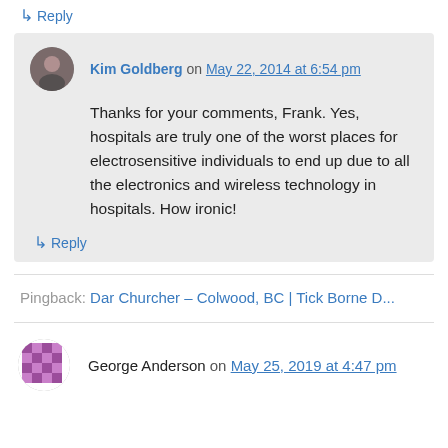↳ Reply
Kim Goldberg on May 22, 2014 at 6:54 pm
Thanks for your comments, Frank. Yes, hospitals are truly one of the worst places for electrosensitive individuals to end up due to all the electronics and wireless technology in hospitals. How ironic!
↳ Reply
Pingback: Dar Churcher – Colwood, BC | Tick Borne D...
George Anderson on May 25, 2019 at 4:47 pm